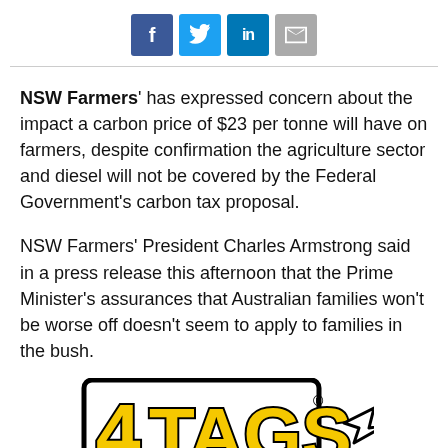[Figure (other): Social media share buttons: Facebook (f), Twitter (bird), LinkedIn (in), Email (envelope)]
NSW Farmers' has expressed concern about the impact a carbon price of $23 per tonne will have on farmers, despite confirmation the agriculture sector and diesel will not be covered by the Federal Government's carbon tax proposal.
NSW Farmers' President Charles Armstrong said in a press release this afternoon that the Prime Minister's assurances that Australian families won't be worse off doesn't seem to apply to families in the bush.
[Figure (logo): 4TAGS logo — large yellow block letters '4TAGS' with a black outline on white background, with a cursor/arrow icon]